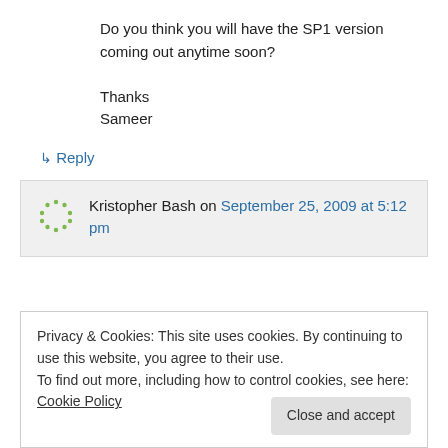Do you think you will have the SP1 version coming out anytime soon?

Thanks
Sameer
↳ Reply
Kristopher Bash on September 25, 2009 at 5:12 pm
Privacy & Cookies: This site uses cookies. By continuing to use this website, you agree to their use.
To find out more, including how to control cookies, see here: Cookie Policy